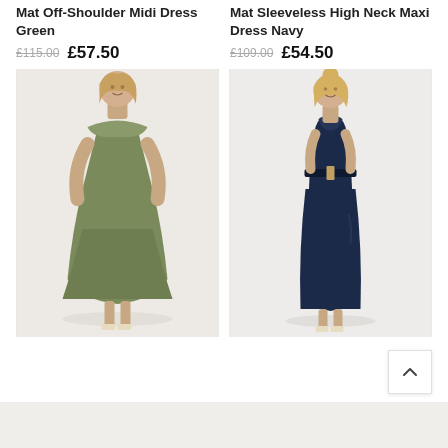Mat Off-Shoulder Midi Dress Green
£115.00  £57.50
[Figure (photo): Woman wearing an olive green off-shoulder midi dress with ruffled neckline and billowing sleeves, standing against a light background]
Mat Sleeveless High Neck Maxi Dress Navy
£109.00  £54.50
[Figure (photo): Woman wearing a navy sleeveless high neck maxi dress with a tied belt at the waist, standing against a light background]